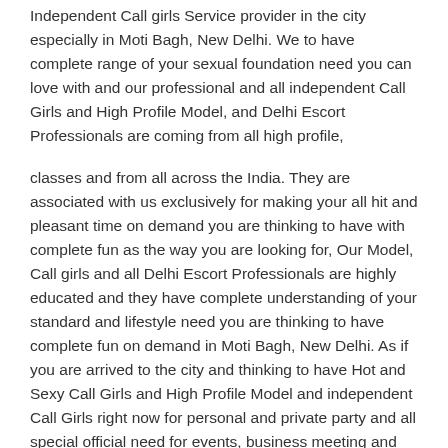Independent Call girls Service provider in the city especially in Moti Bagh, New Delhi. We to have complete range of your sexual foundation need you can love with and our professional and all independent Call Girls and High Profile Model, and Delhi Escort Professionals are coming from all high profile,
classes and from all across the India. They are associated with us exclusively for making your all hit and pleasant time on demand you are thinking to have with complete fun as the way you are looking for, Our Model, Call girls and all Delhi Escort Professionals are highly educated and they have complete understanding of your standard and lifestyle need you are thinking to have complete fun on demand in Moti Bagh, New Delhi. As if you are arrived to the city and thinking to have Hot and Sexy Call Girls and High Profile Model and independent Call Girls right now for personal and private party and all special official need for events, business meeting and annual party you are thinking then we would request you to visit out